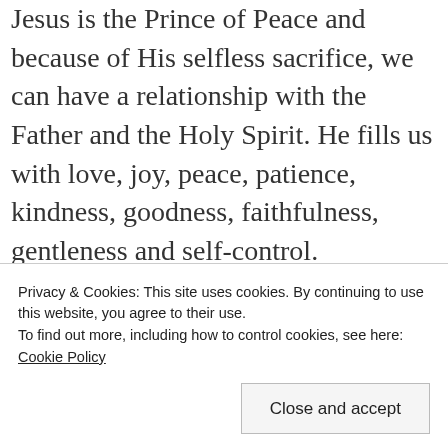Jesus is the Prince of Peace and because of His selfless sacrifice, we can have a relationship with the Father and the Holy Spirit. He fills us with love, joy, peace, patience, kindness, goodness, faithfulness, gentleness and self-control. (Galatians 5:22-23)
We can have confidence and assurance that whatever comes our way, we can be at peace because of who God is and what He says He'll do. It isn't a peace we need to go searching for,
Privacy & Cookies: This site uses cookies. By continuing to use this website, you agree to their use. To find out more, including how to control cookies, see here: Cookie Policy
Close and accept